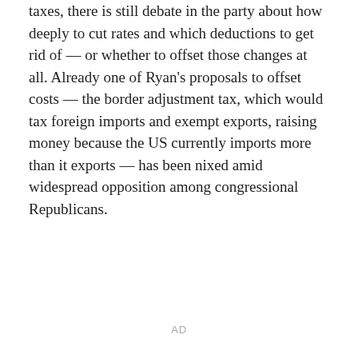taxes, there is still debate in the party about how deeply to cut rates and which deductions to get rid of — or whether to offset those changes at all. Already one of Ryan's proposals to offset costs — the border adjustment tax, which would tax foreign imports and exempt exports, raising money because the US currently imports more than it exports — has been nixed amid widespread opposition among congressional Republicans.
AD